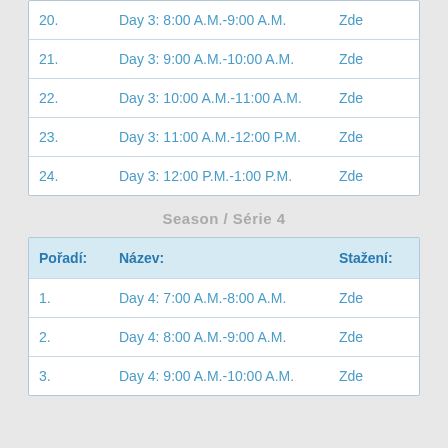| Pořadí: | Název: | Stažení: |
| --- | --- | --- |
| 20. | Day 3: 8:00 A.M.-9:00 A.M. | Zde |
| 21. | Day 3: 9:00 A.M.-10:00 A.M. | Zde |
| 22. | Day 3: 10:00 A.M.-11:00 A.M. | Zde |
| 23. | Day 3: 11:00 A.M.-12:00 P.M. | Zde |
| 24. | Day 3: 12:00 P.M.-1:00 P.M. | Zde |
Season / Série 4
| Pořadí: | Název: | Stažení: |
| --- | --- | --- |
| 1. | Day 4: 7:00 A.M.-8:00 A.M. | Zde |
| 2. | Day 4: 8:00 A.M.-9:00 A.M. | Zde |
| 3. | Day 4: 9:00 A.M.-10:00 A.M. | Zde |